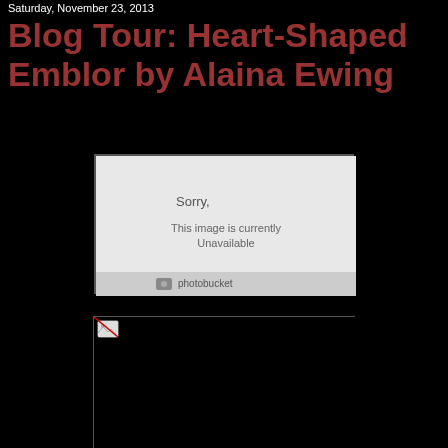Saturday, November 23, 2013
Blog Tour: Heart-Shaped Emblor by Alaina Ewing
[Figure (screenshot): Photobucket image unavailable placeholder showing 'Sorry. This image is currently Unavailable' with photobucket logo]
[Figure (photo): Broken/missing image with small broken image icon in top-left corner on black background]